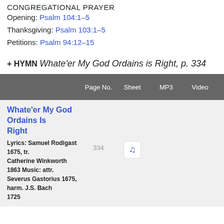CONGREGATIONAL PRAYER
Opening: Psalm 104:1-5
Thanksgiving: Psalm 103:1-5
Petitions: Psalm 94:12-15
+ HYMN
Whate'er My God Ordains is Right, p. 334
|  | Page No. | Sheet | MP3 | Video |
| --- | --- | --- | --- | --- |
| Whate'er My God Ordains Is Right
Lyrics: Samuel Rodigast 1675, tr. Catherine Winkworth 1863 Music: attr. Severus Gastorius 1675, harm. J.S. Bach 1725 | 334 | ♪ |  |  |